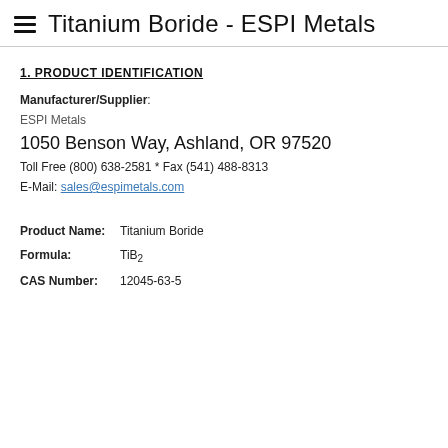Titanium Boride - ESPI Metals
1.  PRODUCT IDENTIFICATION
Manufacturer/Supplier:
ESPI Metals
1050 Benson Way, Ashland, OR 97520
Toll Free (800) 638-2581 * Fax (541) 488-8313
E-Mail: sales@espimetals.com
Product Name:    Titanium Boride
Formula:    TiB2
CAS Number:    12045-63-5